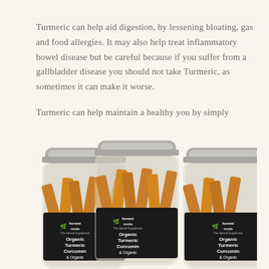Turmeric can help aid digestion, by lessening bloating, gas and food allergies. It may also help treat inflammatory bowel disease but be careful because if you suffer from a gallbladder disease you should not take Turmeric, as sometimes it can make it worse.
Turmeric can help maintain a healthy you by simply adding it to your daily routine!
[Figure (photo): Three glass supplement bottles with silver lids labeled 'honest roots The Natural Supplement - Organic Turmeric Curcumin & Organic', filled with turmeric capsules visible through the glass.]